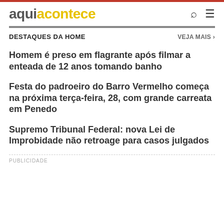aqui acontece
DESTAQUES DA HOME
VEJA MAIS ›
Homem é preso em flagrante após filmar a enteada de 12 anos tomando banho
Festa do padroeiro do Barro Vermelho começa na próxima terça-feira, 28, com grande carreata em Penedo
Supremo Tribunal Federal: nova Lei de Improbidade não retroage para casos julgados
PUBLICIDADE